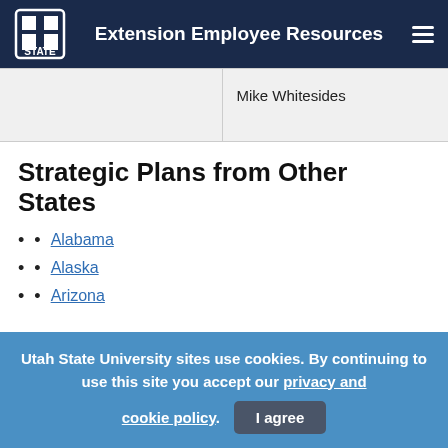Extension Employee Resources
|  |  |
| --- | --- |
|  | Mike Whitesides |
Strategic Plans from Other States
Alabama
Alaska
Arizona
Utah State University sites use cookies. By continuing to use this site you accept our privacy and cookie policy.